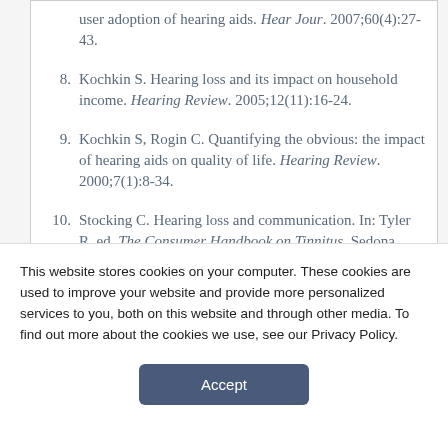8. Kochkin S. Hearing loss and its impact on household income. Hearing Review. 2005;12(11):16-24.
9. Kochkin S, Rogin C. Quantifying the obvious: the impact of hearing aids on quality of life. Hearing Review. 2000;7(1):8-34.
10. Stocking C. Hearing loss and communication. In: Tyler R, ed. The Consumer Handbook on Tinnitus. Sedona, Ariz: Auricle Ink Publishers; 2008.
This website stores cookies on your computer. These cookies are used to improve your website and provide more personalized services to you, both on this website and through other media. To find out more about the cookies we use, see our Privacy Policy.